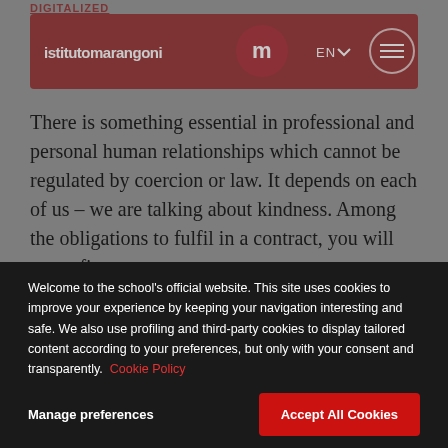DIGITALIZED
[Figure (screenshot): Istituto Marangoni navigation bar with dark red background, logo text 'istitutomarangoni', circular 'm' icon, EN language selector, and hamburger menu icon in circle]
There is something essential in professional and personal human relationships which cannot be regulated by coercion or law. It depends on each of us – we are talking about kindness. Among the obligations to fulfil in a contract, you will never fin…
Welcome to the school's official website. This site uses cookies to improve your experience by keeping your navigation interesting and safe. We also use profiling and third-party cookies to display tailored content according to your preferences, but only with your consent and transparently. Cookie Policy
Manage preferences
Accept All Cookies